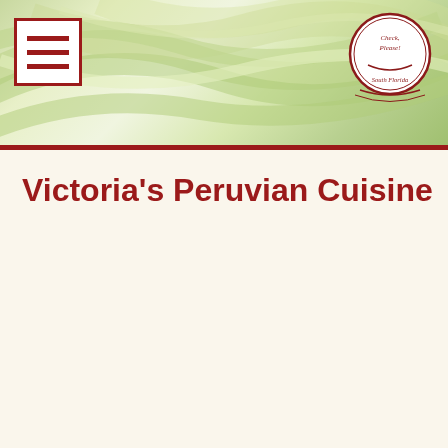Header banner with hamburger menu icon and Check Please South Florida logo
Victoria's Peruvian Cuisine